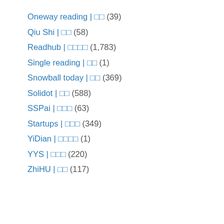Oneway reading | □□ (39)
Qiu Shi | □□ (58)
Readhub | □□□□ (1,783)
Single reading | □□ (1)
Snowball today | □□ (369)
Solidot | □□ (588)
SSPai | □□□ (63)
Startups | □□□ (349)
YiDian | □□□□ (1)
YYS | □□□ (220)
ZhiHU | □□ (117)